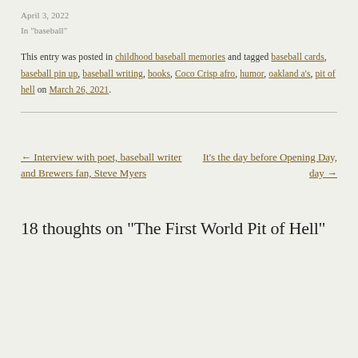April 3, 2022
In "baseball"
This entry was posted in childhood baseball memories and tagged baseball cards, baseball pin up, baseball writing, books, Coco Crisp afro, humor, oakland a's, pit of hell on March 26, 2021.
← Interview with poet, baseball writer and Brewers fan, Steve Myers
It's the day before Opening Day, day →
18 thoughts on "The First World Pit of Hell"